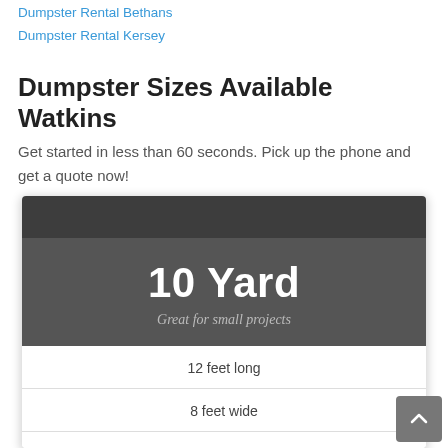Dumpster Rental Bethans
Dumpster Rental Kersey
Dumpster Sizes Available Watkins
Get started in less than 60 seconds. Pick up the phone and get a quote now!
[Figure (infographic): A dumpster size card for '10 Yard' described as 'Great for small projects' with specs: 12 feet long, 8 feet wide, 4 feet tall. Dark gray header sections with white text, white specs section with dividing lines.]